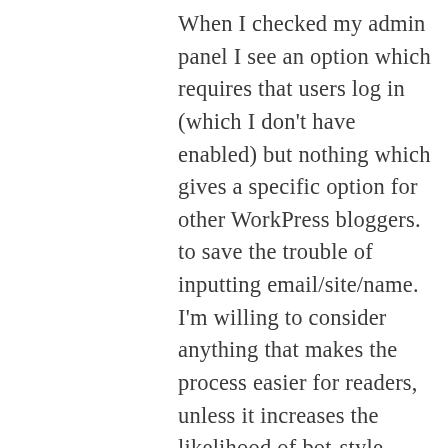When I checked my admin panel I see an option which requires that users log in (which I don't have enabled) but nothing which gives a specific option for other WorkPress bloggers. to save the trouble of inputting email/site/name. I'm willing to consider anything that makes the process easier for readers, unless it increases the likelihood of bot-style spam commenting. And I do